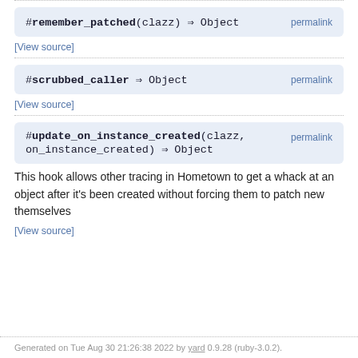#remember_patched(clazz) ⇒ Object  permalink
[View source]
#scrubbed_caller ⇒ Object  permalink
[View source]
#update_on_instance_created(clazz, on_instance_created) ⇒ Object  permalink
This hook allows other tracing in Hometown to get a whack at an object after it's been created without forcing them to patch new themselves
[View source]
Generated on Tue Aug 30 21:26:38 2022 by yard 0.9.28 (ruby-3.0.2).